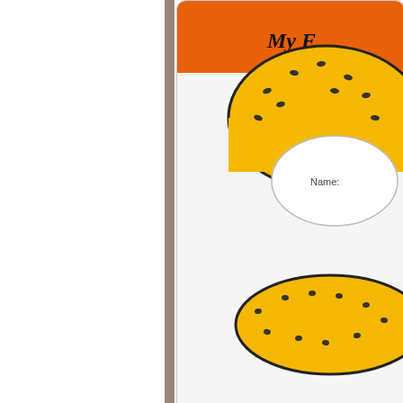[Figure (illustration): Left white column with brownish-gray vertical divider bar]
[Figure (illustration): Top white rounded card showing orange header with 'My F...' text and a cheeseburger bun illustration with 'Name:' label and a Cheeseburger link in blue underlined text]
Cheeseburge...
[Figure (illustration): Green pencil divider bar with red eraser end]
[Figure (illustration): Teal gradient card with step number 2 badge (yellow circle with purple 2) and instruction text: 'Give each student a... of books (or genres)... All of my students ar... reading files are: th...']